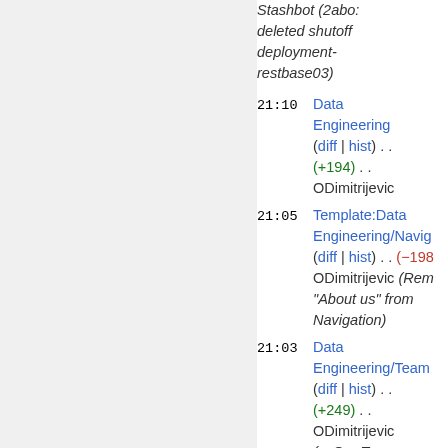Stashbot (2abo: deleted shutoff deployment-restbase03)
21:10 Data Engineering (diff | hist) . . (+194) . . ODimitrijevic
21:05 Template:Data Engineering/Navigation (diff | hist) . . (−198) ODimitrijevic (Removed "About us" from Navigation)
21:03 Data Engineering/Team (diff | hist) . . (+249) . . ODimitrijevic (→Our Team: